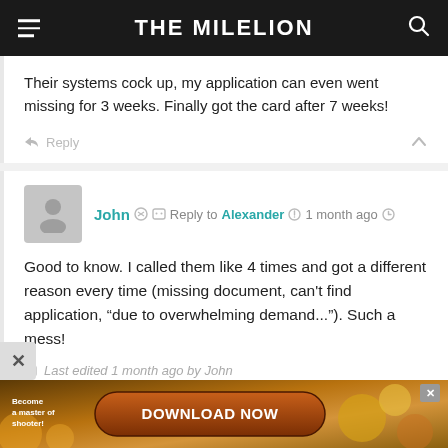THE MILELION
Their systems cock up, my application can even went missing for 3 weeks. Finally got the card after 7 weeks!
Reply
John  Reply to Alexander  1 month ago
Good to know. I called them like 4 times and got a different reason every time (missing document, can't find application, “due to overwhelming demand...”). Such a mess!
Last edited 1 month ago by John